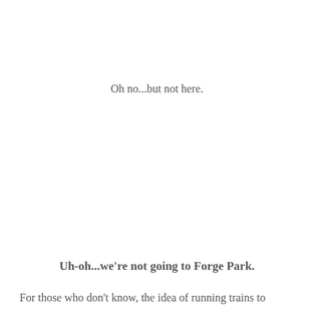Oh no...but not here.
Uh-oh...we're not going to Forge Park.
For those who don't know, the idea of running trains to